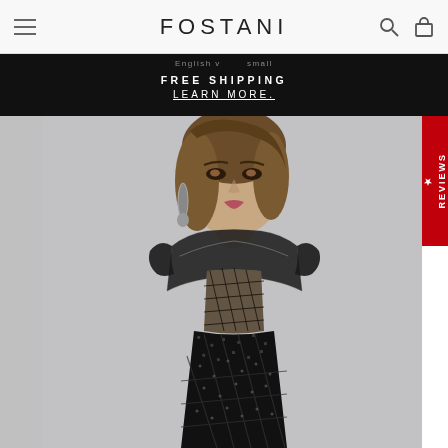FOSTANI
FREE SHIPPING
LEARN MORE.
[Figure (photo): Fashion e-commerce website screenshot showing Fostani brand header with hamburger menu, logo, search and cart icons, a black FREE SHIPPING banner, a Reviews side tab in red, and a product photo of a woman wearing a black sequined mesh dress with sheer panels and cap sleeves.]